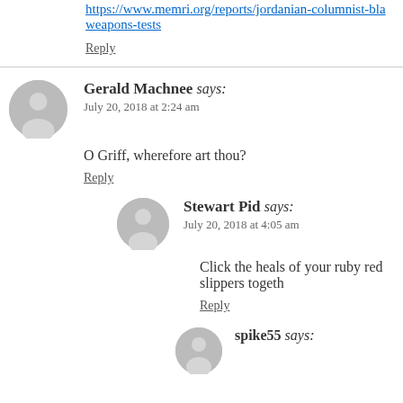https://www.memri.org/reports/jordanian-columnist-bla... weapons-tests
Reply
Gerald Machnee says: July 20, 2018 at 2:24 am
O Griff, wherefore art thou?
Reply
Stewart Pid says: July 20, 2018 at 4:05 am
Click the heals of your ruby red slippers togeth...
Reply
spike55 says: